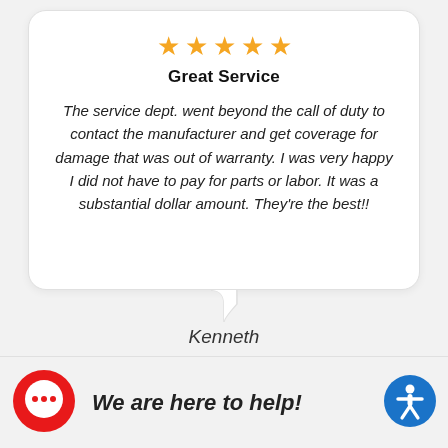[Figure (illustration): Five gold star rating icons centered at top of review bubble]
Great Service
The service dept. went beyond the call of duty to contact the manufacturer and get coverage for damage that was out of warranty. I was very happy I did not have to pay for parts or labor. It was a substantial dollar amount. They're the best!!
Kenneth
[Figure (illustration): Red circular chat button with three dots and blue accessibility icon on bottom bar]
We are here to help!